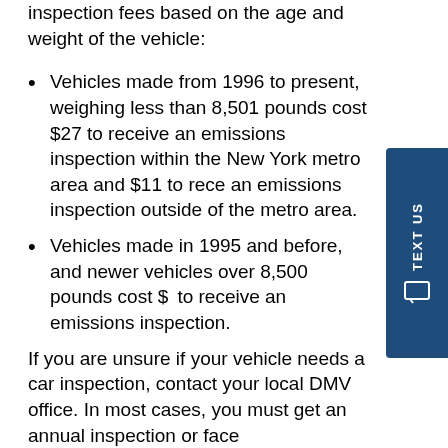inspection fees based on the age and weight of the vehicle:
Vehicles made from 1996 to present, weighing less than 8,501 pounds cost $27 to receive an emissions inspection within the New York metro area and $11 to receive an emissions inspection outside of the metro area.
Vehicles made in 1995 and before, and newer vehicles over 8,500 pounds cost $ to receive an emissions inspection.
If you are unsure if your vehicle needs a car inspection, contact your local DMV office. In most cases, you must get an annual inspection or face consequences such as